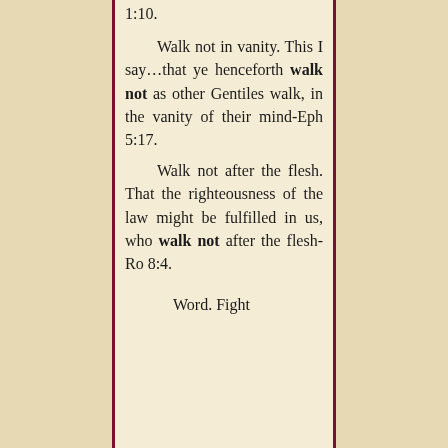1:10. Walk not in vanity. This I say…that ye henceforth walk not as other Gentiles walk, in the vanity of their mind-Eph 5:17. Walk not after the flesh. That the righteousness of the law might be fulfilled in us, who walk not after the flesh-Ro 8:4. Word. Fight